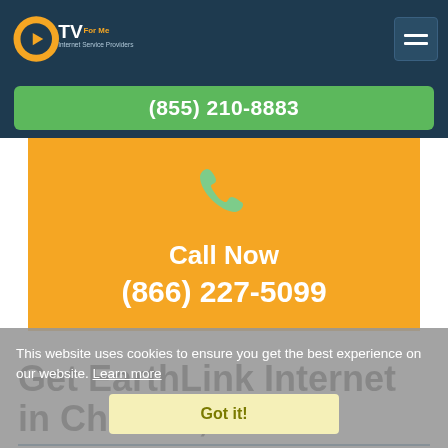CTVForMe - Internet Service Providers | (855) 210-8883
[Figure (infographic): Orange banner with green phone icon, Call Now text and phone number (866) 227-5099]
Get EarthLink Internet in Chelsea, AL
EarthLink is a leader in high-speed Internet in Chelsea. If you live in Chelsea, AL and want to
This website uses cookies to ensure you get the best experience on our website. Learn more
Got it!